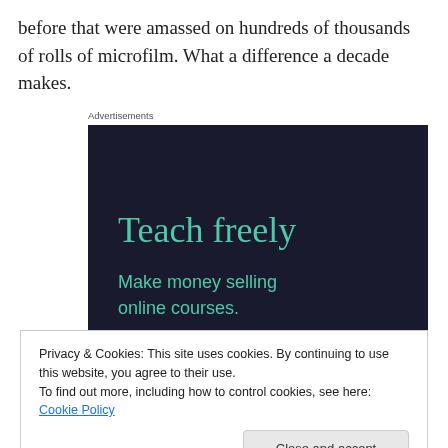before that were amassed on hundreds of thousands of rolls of microfilm. What a difference a decade makes.
[Figure (other): Advertisement banner with dark navy background showing 'Teach freely' in teal serif font and 'Make money selling online courses.' in teal sans-serif font below.]
Privacy & Cookies: This site uses cookies. By continuing to use this website, you agree to their use.
To find out more, including how to control cookies, see here: Cookie Policy
Close and accept